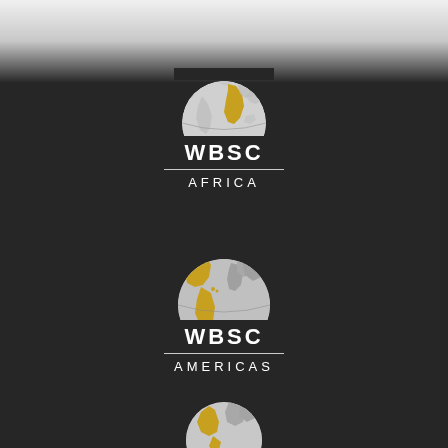[Figure (logo): WBSC Africa logo: globe icon (white with gold Africa continent) over text WBSC with horizontal rule and AFRICA below, on dark background]
[Figure (logo): WBSC Americas logo: globe icon (gold/white with Americas continent highlighted in gold) over text WBSC with horizontal rule and AMERICAS below, on dark background]
[Figure (logo): WBSC third regional logo (partially visible at bottom): globe icon with gold continent highlight, on dark background]